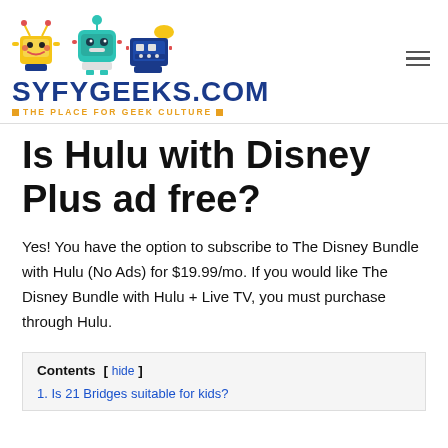SYFYGEEKS.COM — THE PLACE FOR GEEK CULTURE
Is Hulu with Disney Plus ad free?
Yes! You have the option to subscribe to The Disney Bundle with Hulu (No Ads) for $19.99/mo. If you would like The Disney Bundle with Hulu + Live TV, you must purchase through Hulu.
Contents
1. Is 21 Bridges suitable for kids?